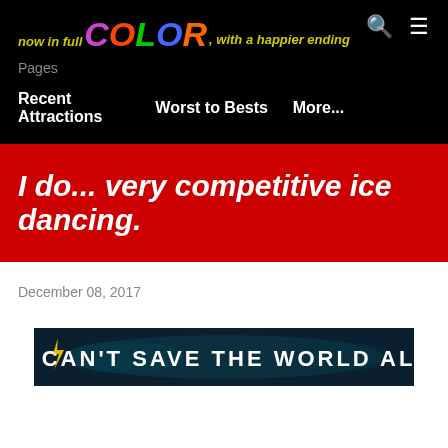now in full COLOR, with a happier ending
Pages
Recent Attractions
Worst to Bests
More...
I do... very competitive ice dancing.
December 08, 2017
[Figure (photo): Movie banner reading YOU CAN'T SAVE THE WORLD ALONE on a dark background with stylized superhero-themed lettering]